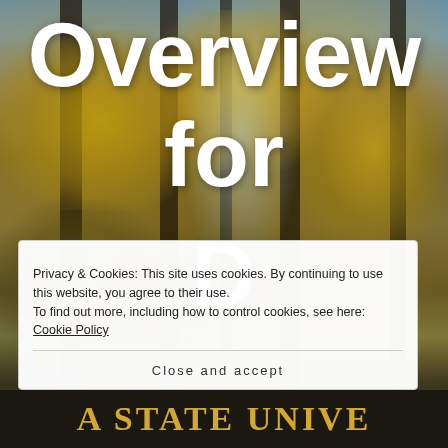[Figure (photo): Autumn forest background photo showing tall trees with yellow/golden foliage and dark trunks, with a partially visible university sign at the bottom]
Overview for
Privacy & Cookies: This site uses cookies. By continuing to use this website, you agree to their use.
To find out more, including how to control cookies, see here: Cookie Policy
Close and accept